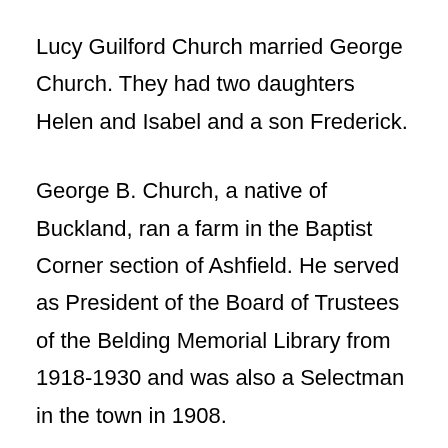Lucy Guilford Church married George Church. They had two daughters Helen and Isabel and a son Frederick.
George B. Church, a native of Buckland, ran a farm in the Baptist Corner section of Ashfield. He served as President of the Board of Trustees of the Belding Memorial Library from 1918-1930 and was also a Selectman in the town in 1908.
Helen Church was a librarian at the South Ashfield Library. Together with her sister Isabel she took care of her parents, her grandmother Nancy, and